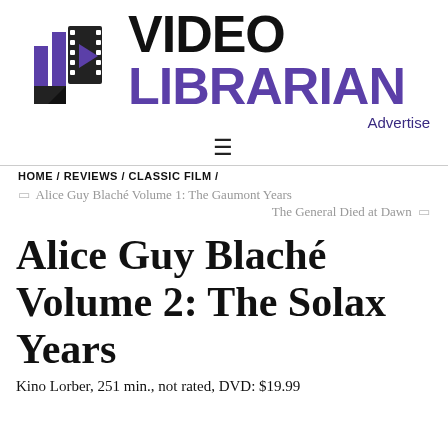[Figure (logo): Video Librarian logo with purple film reel icon and bold text VIDEO LIBRARIAN]
Advertise
≡
HOME / REVIEWS / CLASSIC FILM /
◁ Alice Guy Blaché Volume 1: The Gaumont Years
The General Died at Dawn ▷
Alice Guy Blaché Volume 2: The Solax Years
Kino Lorber, 251 min., not rated, DVD: $19.99